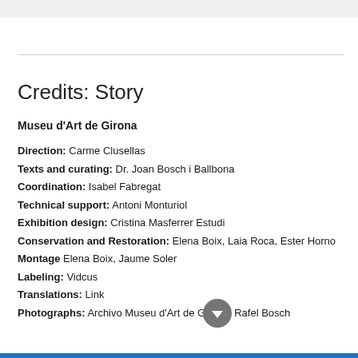Credits: Story
Museu d'Art de Girona
Direction: Carme Clusellas
Texts and curating: Dr. Joan Bosch i Ballbona
Coordination: Isabel Fabregat
Technical support: Antoni Monturiol
Exhibition design: Cristina Masferrer Estudi
Conservation and Restoration: Elena Boix, Laia Roca, Ester Horno
Montage Elena Boix, Jaume Soler
Labeling: Vidcus
Translations: Link
Photographs: Archivo Museu d'Art de Girona, Rafel Bosch